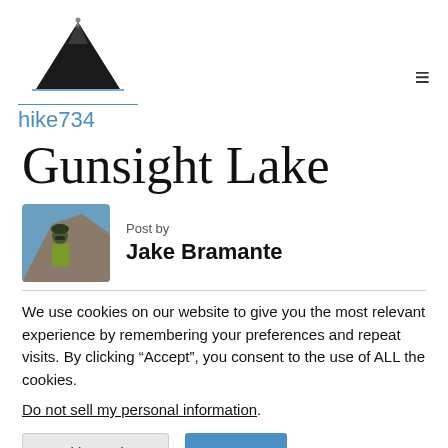hike734 logo and navigation
Gunsight Lake
Post by
Jake Bramante
We use cookies on our website to give you the most relevant experience by remembering your preferences and repeat visits. By clicking “Accept”, you consent to the use of ALL the cookies.
Do not sell my personal information.